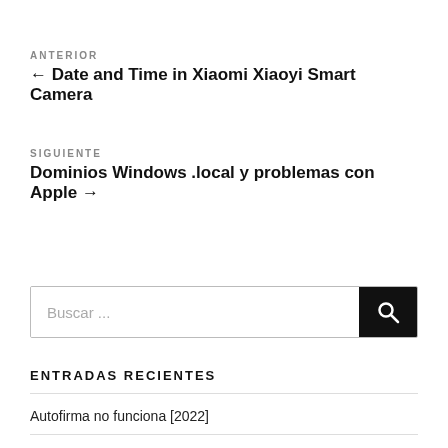ANTERIOR
← Date and Time in Xiaomi Xiaoyi Smart Camera
SIGUIENTE
Dominios Windows .local y problemas con Apple →
Buscar ...
ENTRADAS RECIENTES
Autofirma no funciona [2022]